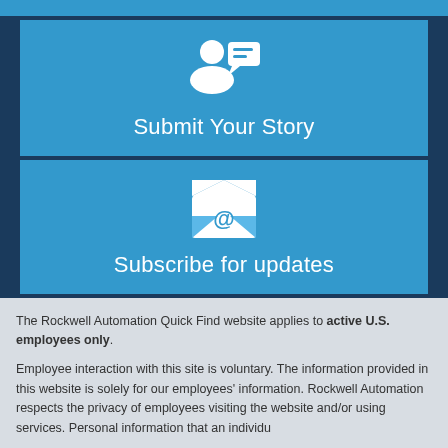[Figure (infographic): Blue card with person and speech bubble icon and text 'Submit Your Story']
[Figure (infographic): Blue card with envelope/email icon and text 'Subscribe for updates']
The Rockwell Automation Quick Find website applies to active U.S. employees only.
Employee interaction with this site is voluntary. The information provided in this website is solely for our employees' information. Rockwell Automation respects the privacy of employees visiting the website and/or using services. Personal information that an individual